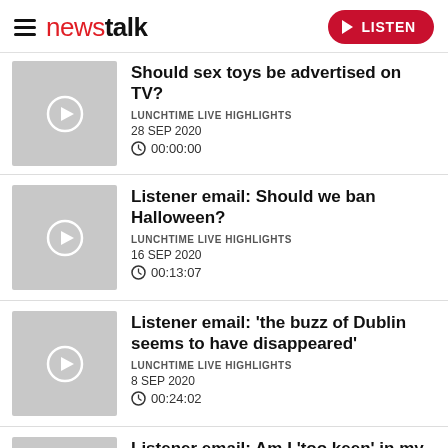newstalk  LISTEN
Should sex toys be advertised on TV? | LUNCHTIME LIVE HIGHLIGHTS | 28 SEP 2020 | 00:00:00
Listener email: Should we ban Halloween? | LUNCHTIME LIVE HIGHLIGHTS | 16 SEP 2020 | 00:13:07
Listener email: 'the buzz of Dublin seems to have disappeared' | LUNCHTIME LIVE HIGHLIGHTS | 8 SEP 2020 | 00:24:02
Listener email: Am I 'too keen' in my dating life?